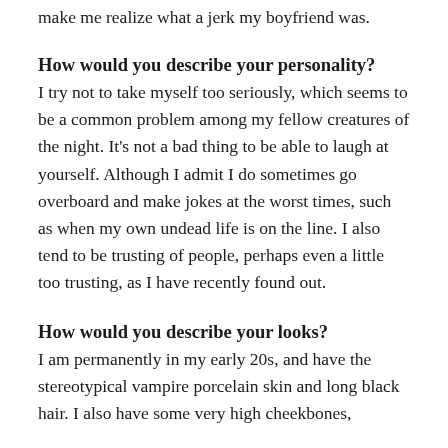make me realize what a jerk my boyfriend was.
How would you describe your personality?
I try not to take myself too seriously, which seems to be a common problem among my fellow creatures of the night. It’s not a bad thing to be able to laugh at yourself. Although I admit I do sometimes go overboard and make jokes at the worst times, such as when my own undead life is on the line. I also tend to be trusting of people, perhaps even a little too trusting, as I have recently found out.
How would you describe your looks?
I am permanently in my early 20s, and have the stereotypical vampire porcelain skin and long black hair. I also have some very high cheekbones,